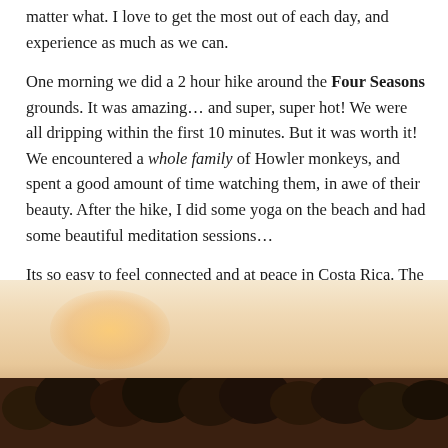matter what. I love to get the most out of each day, and experience as much as we can.
One morning we did a 2 hour hike around the Four Seasons grounds. It was amazing… and super, super hot! We were all dripping within the first 10 minutes. But it was worth it! We encountered a whole family of Howler monkeys, and spent a good amount of time watching them, in awe of their beauty. After the hike, I did some yoga on the beach and had some beautiful meditation sessions…
Its so easy to feel connected and at peace in Costa Rica. The energy is like nothing else!
[Figure (photo): A hazy warm-toned landscape photo showing silhouetted tropical trees against a glowing orange and cream sky, likely a sunrise or sunset scene in Costa Rica.]